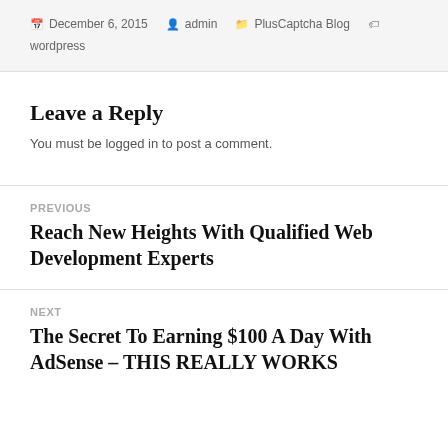December 6, 2015  admin  PlusCaptcha Blog  wordpress
Leave a Reply
You must be logged in to post a comment.
PREVIOUS
Reach New Heights With Qualified Web Development Experts
NEXT
The Secret To Earning $100 A Day With AdSense – THIS REALLY WORKS